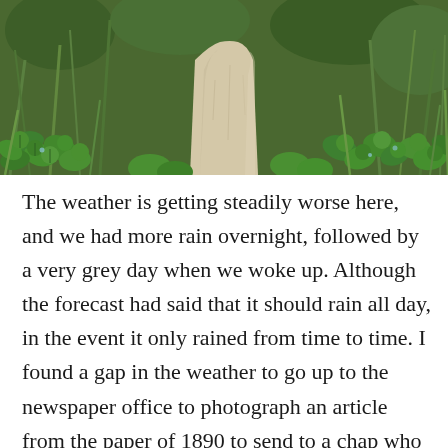[Figure (photo): Close-up photograph of a mushroom stem/stalk rising from ground cover of green clover-like leaves and grass. The mushroom stalk is pale/cream colored and visible in the center. The background is lush green vegetation.]
The weather is getting steadily worse here, and we had more rain overnight, followed by a very grey day when we woke up. Although the forecast had said that it should rain all day, in the event it only rained from time to time. I found a gap in the weather to go up to the newspaper office to photograph an article from the paper of 1890 to send to a chap who was researching his family history. The newspaper